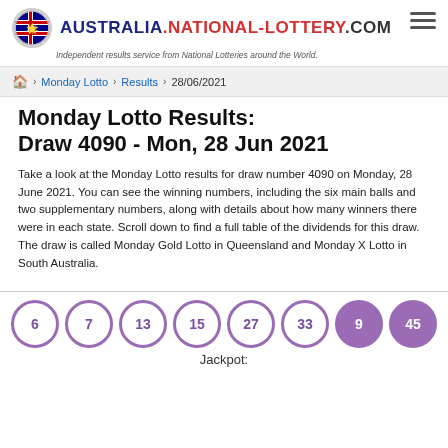AUSTRALIA.NATIONAL-LOTTERY.COM — Independent results service from National Lotteries around the World.
Monday Lotto > Results > 28/06/2021
Monday Lotto Results: Draw 4090 - Mon, 28 Jun 2021
Take a look at the Monday Lotto results for draw number 4090 on Monday, 28 June 2021. You can see the winning numbers, including the six main balls and two supplementary numbers, along with details about how many winners there were in each state. Scroll down to find a full table of the dividends for this draw. The draw is called Monday Gold Lotto in Queensland and Monday X Lotto in South Australia.
[Figure (other): Lottery balls showing numbers 6, 7, 13, 15, 27, 33 (main, white with purple border) and 9, 45 (supplementary, filled purple)]
Jackpot: